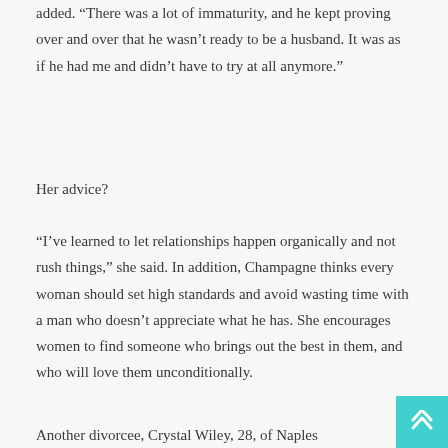added. “There was a lot of immaturity, and he kept proving over and over that he wasn’t ready to be a husband. It was as if he had me and didn’t have to try at all anymore.”
Her advice?
“I’ve learned to let relationships happen organically and not rush things,” she said. In addition, Champagne thinks every woman should set high standards and avoid wasting time with a man who doesn’t appreciate what he has. She encourages women to find someone who brings out the best in them, and who will love them unconditionally.
Another divorcee, Crystal Wiley, 28, of Naples